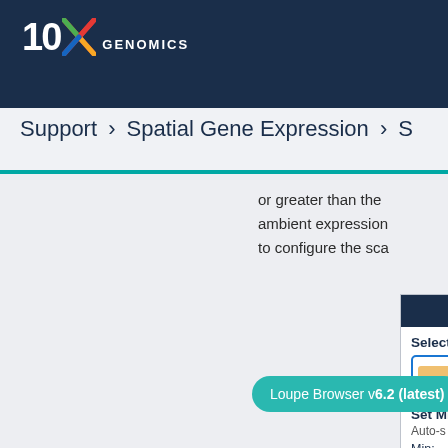[Figure (logo): 10x Genomics logo in white on dark navy background header]
Support > Spatial Gene Expression > S
or greater than the ambient expression to configure the sca
[Figure (screenshot): Partial UI panel showing: Select [dropdown with orange chip], Set Min, Auto-s, Min: fields on dark navy + white background]
Loupe Browser v6.2 (latest)